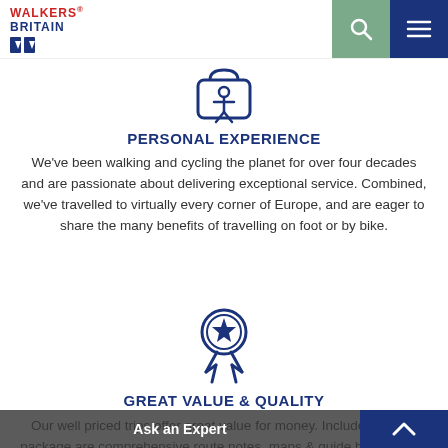[Figure (logo): Walkers Britain logo with red WALKERS text, blue BRITAIN text, and blue map/flag icons]
[Figure (illustration): Blue outline icon of a person hiking with backpack inside a circle or cart shape]
PERSONAL EXPERIENCE
We've been walking and cycling the planet for over four decades and are passionate about delivering exceptional service. Combined, we've travelled to virtually every corner of Europe, and are eager to share the many benefits of travelling on foot or by bike.
[Figure (illustration): Blue outline icon of an award medal with a star and two ribbons]
GREAT VALUE & QUALITY
Our well priced trips offer great value for money. Included in your package are comprehensive route notes, maps & guide books along with bag transfers and locally run accommodations. We take the stress away from...